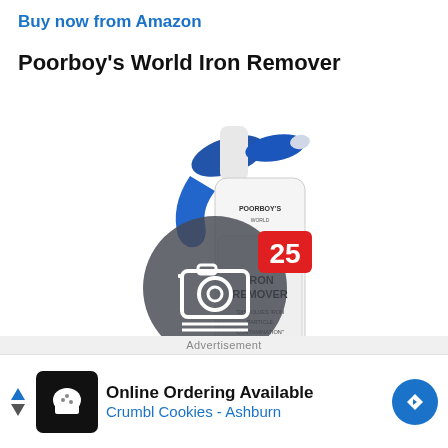Buy now from Amazon
Poorboy's World Iron Remover
[Figure (photo): Poorboy's World Iron Remover spray bottle with blue trigger, white bottle body labeled IRON REMOVER 'DISSOLVES IRON PARTICLE CONTAMINATION', with a semi-transparent camera icon overlay circle and a red badge showing '25']
Advertisement
Online Ordering Available
Crumbl Cookies - Ashburn